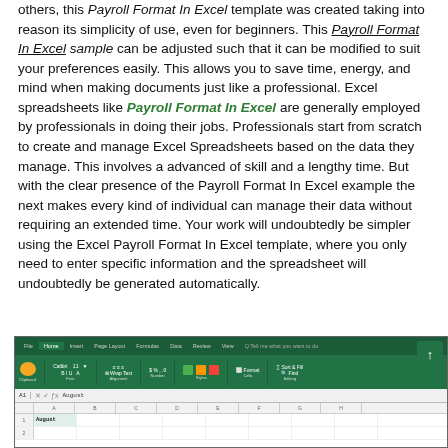others, this Payroll Format In Excel template was created taking into reason its simplicity of use, even for beginners. This Payroll Format In Excel sample can be adjusted such that it can be modified to suit your preferences easily. This allows you to save time, energy, and mind when making documents just like a professional. Excel spreadsheets like Payroll Format In Excel are generally employed by professionals in doing their jobs. Professionals start from scratch to create and manage Excel Spreadsheets based on the data they manage. This involves a advanced of skill and a lengthy time. But with the clear presence of the Payroll Format In Excel example the next makes every kind of individual can manage their data without requiring an extended time. Your work will undoubtedly be simpler using the Excel Payroll Format In Excel template, where you only need to enter specific information and the spreadsheet will undoubtedly be generated automatically.
[Figure (screenshot): Screenshot of Microsoft Excel spreadsheet showing the ribbon interface with green header, formula bar showing cell A1 with 'August', and grid below]